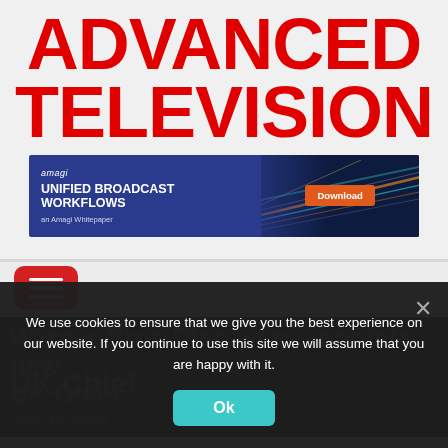ADVANCED TELEVISION
[Figure (infographic): Amagi advertisement banner: blue left panel with text 'amagi UNIFIED BROADCAST WORKFLOWS an Amagi Whitepaper' and right panel showing city lights/motion blur with orange Download button]
[Figure (other): Red rounded hamburger menu button with three white horizontal lines]
We use cookies to ensure that we give you the best experience on our website. If you continue to use this site we will assume that you are happy with it.
Ok